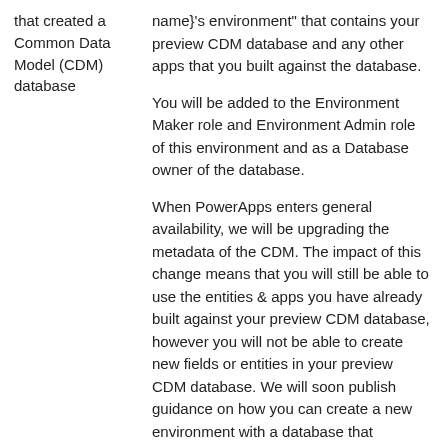that created a Common Data Model (CDM) database
name}'s environment" that contains your preview CDM database and any other apps that you built against the database.
You will be added to the Environment Maker role and Environment Admin role of this environment and as a Database owner of the database.
When PowerApps enters general availability, we will be upgrading the metadata of the CDM.  The impact of this change means that you will still be able to use the entities & apps you have already built against your preview CDM database, however you will not be able to create new fields or entities in your preview CDM database.  We will soon publish guidance on how you can create a new environment with a database that contains the upgraded metadata and migrate your apps over to that environment.